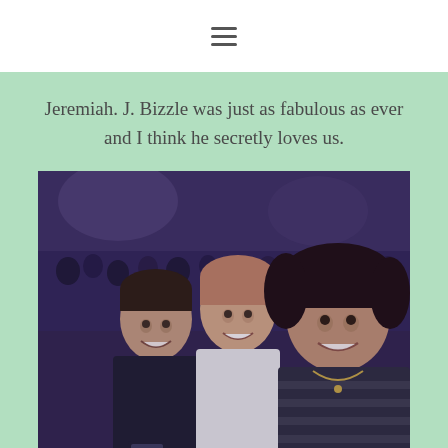≡
Jeremiah. J. Bizzle was just as fabulous as ever and I think he secretly loves us.
[Figure (photo): Three people taking a selfie at a concert venue. A smiling boy on the left, a girl with a braid in the middle, and a woman with dark curly hair on the right. The background shows a large crowd in a dimly lit venue with purple/blue lighting.]